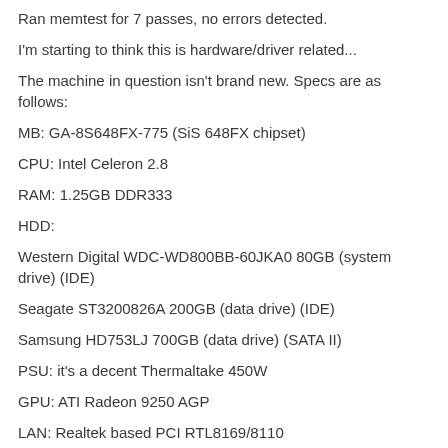Ran memtest for 7 passes, no errors detected.
I'm starting to think this is hardware/driver related...
The machine in question isn't brand new. Specs are as follows:
MB: GA-8S648FX-775 (SiS 648FX chipset)
CPU: Intel Celeron 2.8
RAM: 1.25GB DDR333
HDD:
Western Digital WDC-WD800BB-60JKA0 80GB (system drive) (IDE)
Seagate ST3200826A 200GB (data drive) (IDE)
Samsung HD753LJ 700GB (data drive) (SATA II)
PSU: it's a decent Thermaltake 450W
GPU: ATI Radeon 9250 AGP
LAN: Realtek based PCI RTL8169/8110